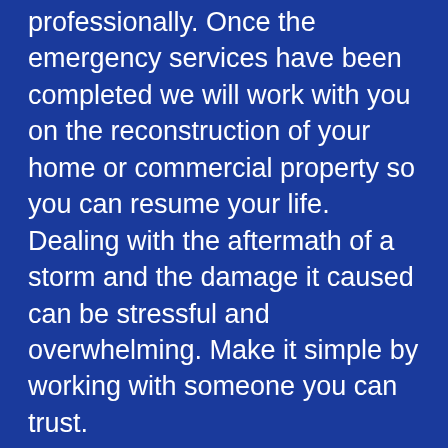professionally. Once the emergency services have been completed we will work with you on the reconstruction of your home or commercial property so you can resume your life. Dealing with the aftermath of a storm and the damage it caused can be stressful and overwhelming. Make it simple by working with someone you can trust.
As the insurance preferred contractor, Compass Construction is fully qualified to work with your insurance company. Our team is a licensed, registered, and certified contractor in the state of Washington and Idaho. If you have damaged siding, roofing, shingles, windows, doors, water damage, or structural damage we have the experience and personnel to quickly manage your project and help the reconstruction project